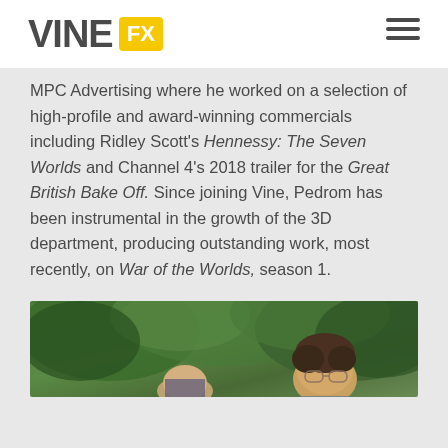VINE FX
MPC Advertising where he worked on a selection of high-profile and award-winning commercials including Ridley Scott's Hennessy: The Seven Worlds and Channel 4's 2018 trailer for the Great British Bake Off.  Since joining Vine, Pedrom has been instrumental in the growth of the 3D department, producing outstanding work, most recently, on War of the Worlds, season 1.
[Figure (photo): Outdoor photo showing two people partially visible in front of green trees/foliage background]